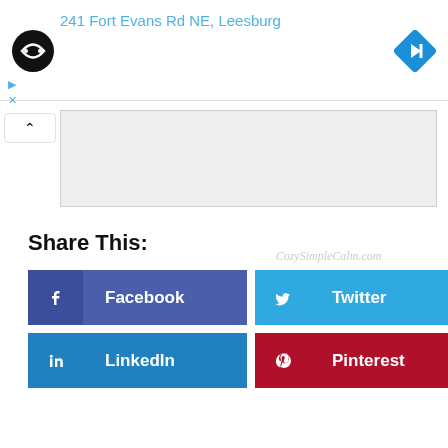241 Fort Evans Rd NE, Leesburg
[Figure (screenshot): Map panel with gray background and CozySimpleCalm.com watermark]
Share This:
[Figure (infographic): Social share buttons: Facebook, Twitter, LinkedIn, Pinterest]